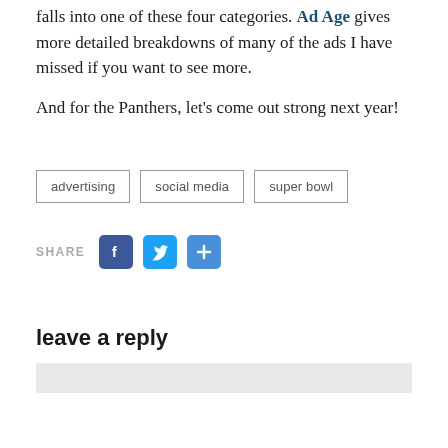falls into one of these four categories. Ad Age gives more detailed breakdowns of many of the ads I have missed if you want to see more.
And for the Panthers, let’s come out strong next year!
advertising
social media
super bowl
SHARE
leave a reply